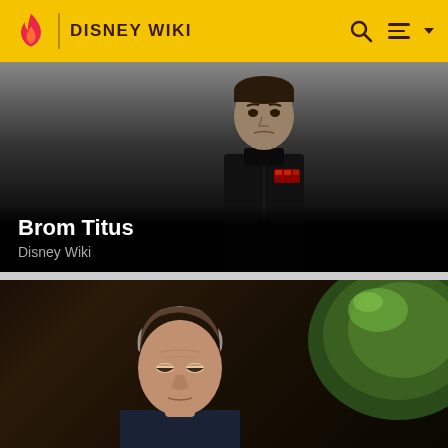DISNEY WIKI
[Figure (photo): Animated character Brom Titus in black Imperial uniform, serious expression, from Star Wars Rebels. Dark gradient background. Name overlay at bottom left.]
Brom Titus
Disney Wiki
[Figure (photo): Live-action man with grey-streaked hair in a dark setting with a large green metallic object visible in background. Looking downward, serious expression.]